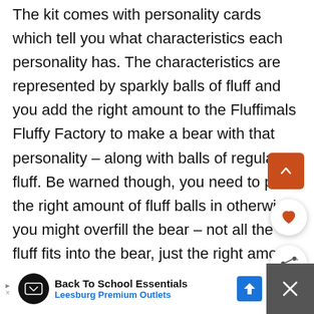The kit comes with personality cards which tell you what characteristics each personality has. The characteristics are represented by sparkly balls of fluff and you add the right amount to the Fluffimals Fluffy Factory to make a bear with that personality – along with balls of regular fluff. Be warned though, you need to put the right amount of fluff balls in otherwise you might overfill the bear – not all the fluff fits into the bear, just the right amount for the desired personality.
[Figure (screenshot): UI overlay with scroll-up button (orange rectangle), heart/favorite button (white circle), and share button (white circle) on the right side of the page]
[Figure (screenshot): WHAT'S NEXT panel showing a thumbnail and text 'Fluffimals Fluffy Factor...']
[Figure (screenshot): Advertisement bar at bottom: 'Back To School Essentials - Leesburg Premium Outlets']